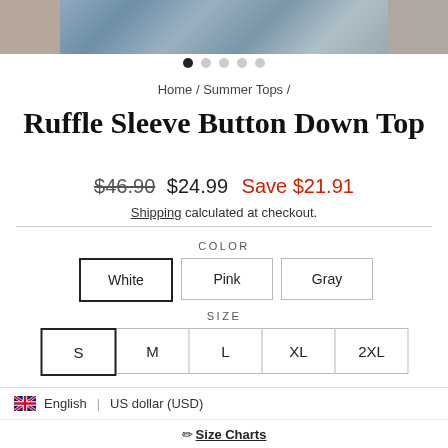[Figure (photo): Product photo strip showing model wearing denim outfit, partial views on left and right]
• • • • •  (carousel dots, first active)
Home / Summer Tops /
Ruffle Sleeve Button Down Top
$46.90  $24.99  Save $21.91
Shipping calculated at checkout.
COLOR
White (selected)
Pink
Gray
SIZE
S (selected)
M
L
XL
2XL
🇬🇧 English  |  US dollar (USD)
✏ Size Charts